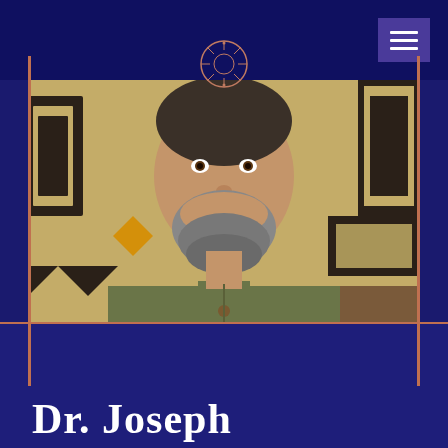Navigation header with logo and menu button
[Figure (photo): Portrait photo of a middle-aged man with a salt-and-pepper beard, smiling broadly, wearing an olive/army green collarless linen shirt with wooden buttons, standing in front of an African kuba cloth or textile with geometric black-and-tan patterns]
Dr. Joseph